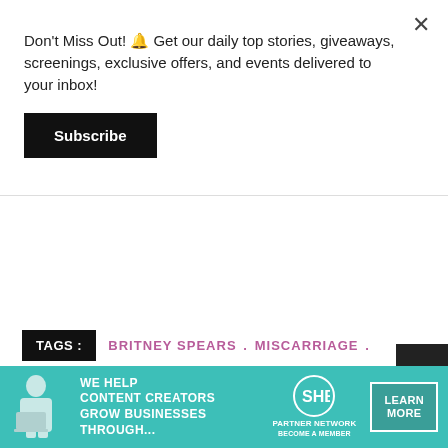Don't Miss Out! 🔔 Get our daily top stories, giveaways, screenings, exclusive offers, and events delivered to your inbox!
Subscribe
TAGS :  BRITNEY SPEARS . MISCARRIAGE . PRAYERS UP
[Figure (infographic): SHE Media Partner Network advertisement banner with teal background, woman with laptop, text 'We Help Content Creators Grow Businesses Through...', SHE logo, and 'Learn More' button with 'Become a Member' text]